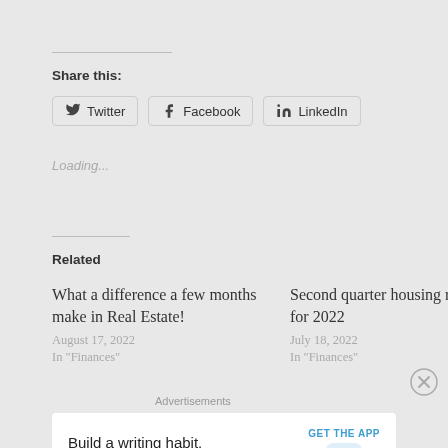Share this:
Twitter  Facebook  LinkedIn
Loading...
Related
What a difference a few months make in Real Estate!
August 17, 2022
In "Finances"
Second quarter housing results for 2022
July 18, 2022
In "Finances"
Advertisements
Build a writing habit. Post on the go.
GET THE APP